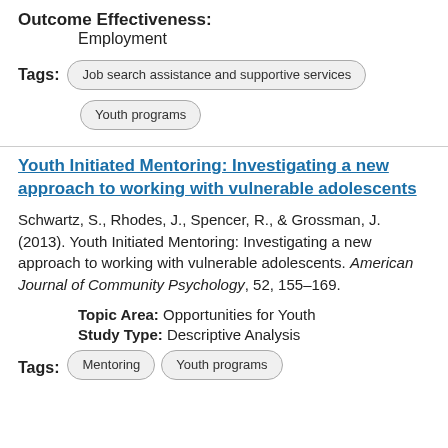Outcome Effectiveness:
Employment
Tags: Job search assistance and supportive services   Youth programs
Youth Initiated Mentoring: Investigating a new approach to working with vulnerable adolescents
Schwartz, S., Rhodes, J., Spencer, R., & Grossman, J. (2013). Youth Initiated Mentoring: Investigating a new approach to working with vulnerable adolescents. American Journal of Community Psychology, 52, 155–169.
Topic Area: Opportunities for Youth
Study Type: Descriptive Analysis
Tags: Mentoring   Youth programs